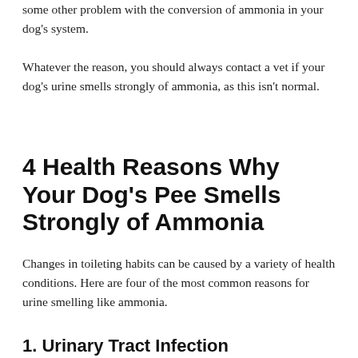some other problem with the conversion of ammonia in your dog's system.
Whatever the reason, you should always contact a vet if your dog's urine smells strongly of ammonia, as this isn't normal.
4 Health Reasons Why Your Dog's Pee Smells Strongly of Ammonia
Changes in toileting habits can be caused by a variety of health conditions. Here are four of the most common reasons for urine smelling like ammonia.
1. Urinary Tract Infection